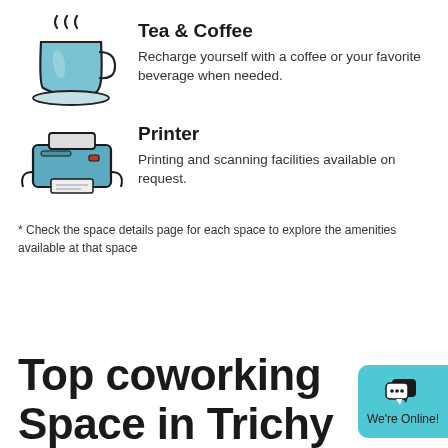[Figure (illustration): Icon of a coffee cup with steam rising, drawn in blue with dark outline]
Tea & Coffee
Recharge yourself with a coffee or your favorite beverage when needed.
[Figure (illustration): Icon of a printer in blue with dark outline]
Printer
Printing and scanning facilities available on request.
* Check the space details page for each space to explore the amenities available at that space
Top coworking Space in Trichy